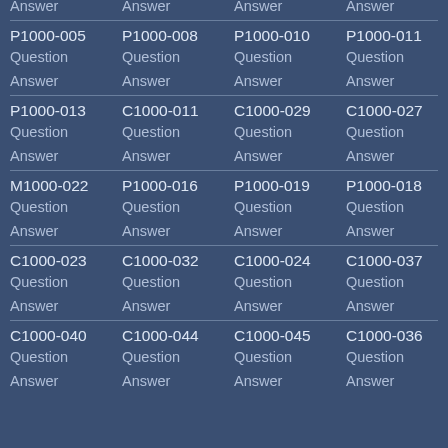| Col1 | Col2 | Col3 | Col4 |
| --- | --- | --- | --- |
| Question | Question | Question | Question |
| Answer | Answer | Answer | Answer |
| P1000-005 | P1000-008 | P1000-010 | P1000-011 |
| Question | Question | Question | Question |
| Answer | Answer | Answer | Answer |
| P1000-013 | C1000-011 | C1000-029 | C1000-027 |
| Question | Question | Question | Question |
| Answer | Answer | Answer | Answer |
| M1000-022 | P1000-016 | P1000-019 | P1000-018 |
| Question | Question | Question | Question |
| Answer | Answer | Answer | Answer |
| C1000-023 | C1000-032 | C1000-024 | C1000-037 |
| Question | Question | Question | Question |
| Answer | Answer | Answer | Answer |
| C1000-040 | C1000-044 | C1000-045 | C1000-036 |
| Question | Question | Question | Question |
| Answer | Answer | Answer | Answer |